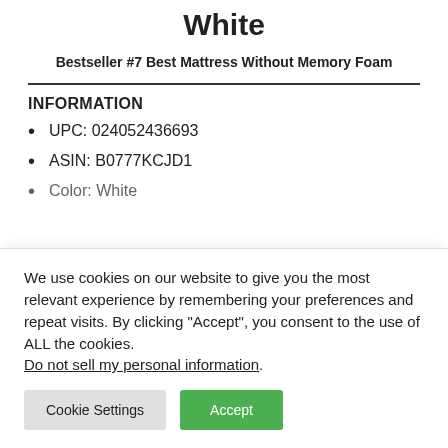White
Bestseller #7 Best Mattress Without Memory Foam
INFORMATION
UPC: 024052436693
ASIN: B0777KCJD1
Color: White
We use cookies on our website to give you the most relevant experience by remembering your preferences and repeat visits. By clicking “Accept”, you consent to the use of ALL the cookies. Do not sell my personal information.
Cookie Settings | Accept